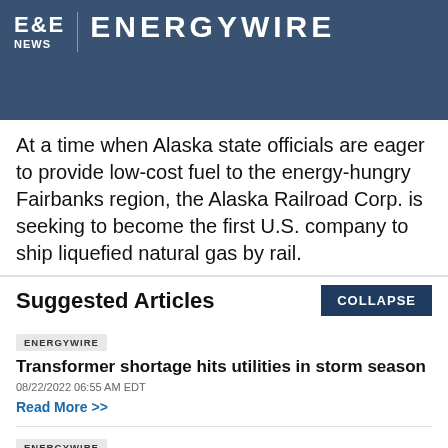[Figure (logo): E&E News | ENERGYWIRE banner logo on dark blue background]
At a time when Alaska state officials are eager to provide low-cost fuel to the energy-hungry Fairbanks region, the Alaska Railroad Corp. is seeking to become the first U.S. company to ship liquefied natural gas by rail.
Suggested Articles
COLLAPSE
ENERGYWIRE
Transformer shortage hits utilities in storm season
08/22/2022 06:55 AM EDT
Read More >>
ENERGYWIRE
Permitting deal: Pipeline boom or 'propaganda exercise?'